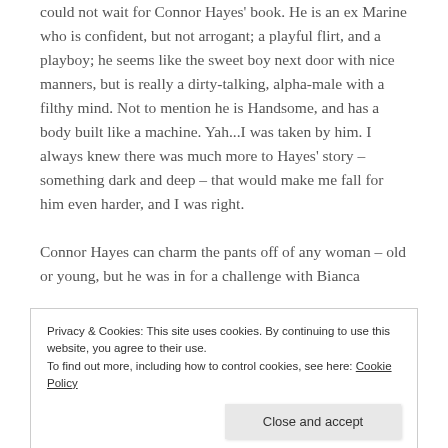could not wait for Connor Hayes' book. He is an ex Marine who is confident, but not arrogant; a playful flirt, and a playboy; he seems like the sweet boy next door with nice manners, but is really a dirty-talking, alpha-male with a filthy mind. Not to mention he is Handsome, and has a body built like a machine. Yah...I was taken by him. I always knew there was much more to Hayes' story – something dark and deep – that would make me fall for him even harder, and I was right.
Connor Hayes can charm the pants off of any woman – old or young, but he was in for a challenge with Bianca
Privacy & Cookies: This site uses cookies. By continuing to use this website, you agree to their use. To find out more, including how to control cookies, see here: Cookie Policy
is one of the toughest heroines I have read. Her guard is